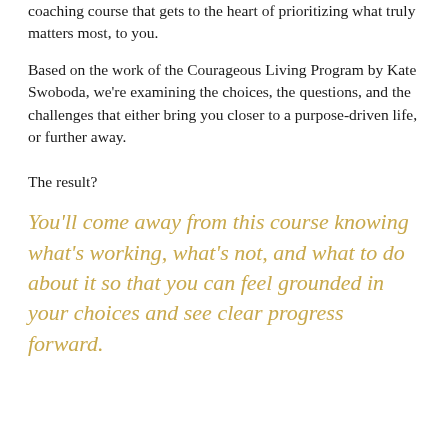coaching course that gets to the heart of prioritizing what truly matters most, to you.
Based on the work of the Courageous Living Program by Kate Swoboda, we're examining the choices, the questions, and the challenges that either bring you closer to a purpose-driven life, or further away.
The result?
You'll come away from this course knowing what's working, what's not, and what to do about it so that you can feel grounded in your choices and see clear progress forward.